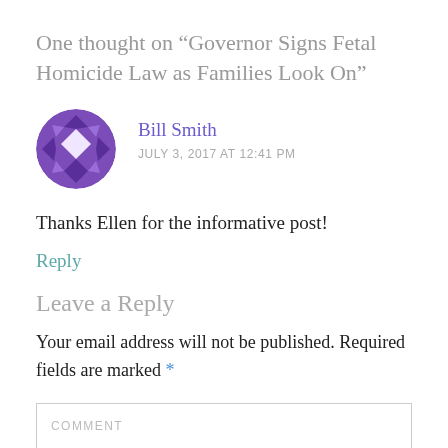One thought on “Governor Signs Fetal Homicide Law as Families Look On”
[Figure (illustration): Purple geometric mosaic/quilt pattern avatar in a circle, representing user Bill Smith]
Bill Smith
JULY 3, 2017 AT 12:41 PM
Thanks Ellen for the informative post!
Reply
Leave a Reply
Your email address will not be published. Required fields are marked *
COMMENT